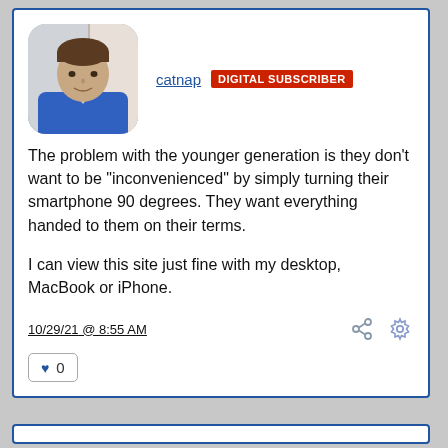[Figure (photo): Profile photo of user 'catnap', a man wearing a blue polo shirt, with rounded corners on the image]
catnap  DIGITAL SUBSCRIBER
The problem with the younger generation is they don't want to be "inconvenienced" by simply turning their smartphone 90 degrees. They want everything handed to them on their terms.

I can view this site just fine with my desktop, MacBook or iPhone.
10/29/21 @ 8:55 AM
♥ 0